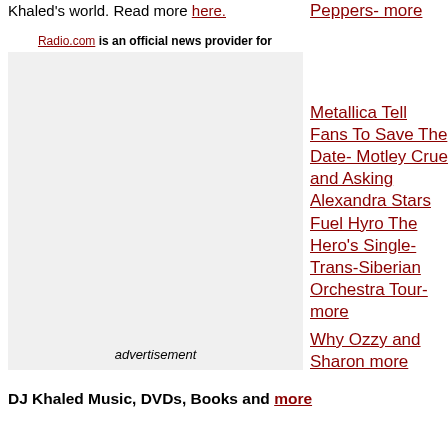Khaled's world. Read more here.
Peppers- more
Radio.com is an official news provider for antiMusic.com. Copyright Radio.com/CBS Local - Excerpted here with permission.
Metallica Tell Fans To Save The Date- Motley Crue and Asking Alexandra Stars Fuel Hyro The Hero's Single- Trans-Siberian Orchestra Tour- more
[Figure (other): Advertisement placeholder box with label 'advertisement']
Why Ozzy and Sharon more
DJ Khaled Music, DVDs, Books and more